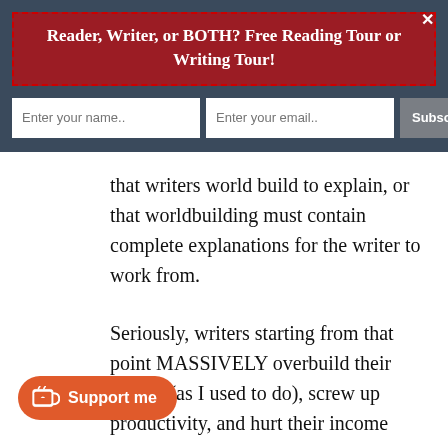Reader, Writer, or BOTH? Free Reading Tour or Writing Tour!
that writers world build to explain, or that worldbuilding must contain complete explanations for the writer to work from.
Seriously, writers starting from that point MASSIVELY overbuild their worlds (as I used to do), screw up productivity, and hurt their income